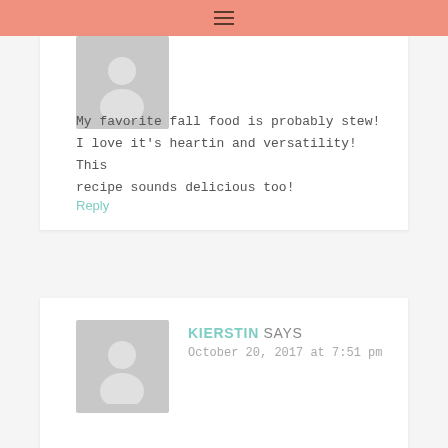≡
My favorite fall food is probably stew! I love it's heartin and versatility! This recipe sounds delicious too!
Reply
KIERSTIN SAYS
October 20, 2017 at 7:51 pm